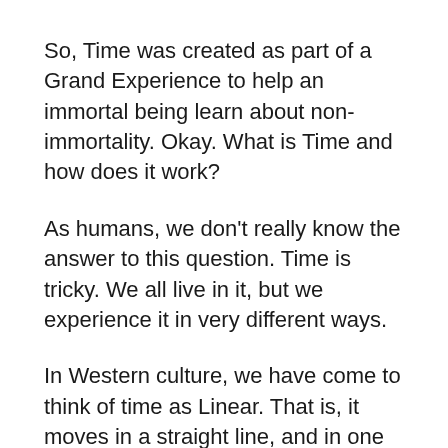So, Time was created as part of a Grand Experience to help an immortal being learn about non-immortality. Okay. What is Time and how does it work?
As humans, we don't really know the answer to this question. Time is tricky. We all live in it, but we experience it in very different ways.
In Western culture, we have come to think of time as Linear. That is, it moves in a straight line, and in one direction—forward—from the Past to the Present to the Future. The Present is always instantly becoming the Past, the Future becoming the Present, and it never stops. Time is like a pen drawing on an endless ribbon, or a